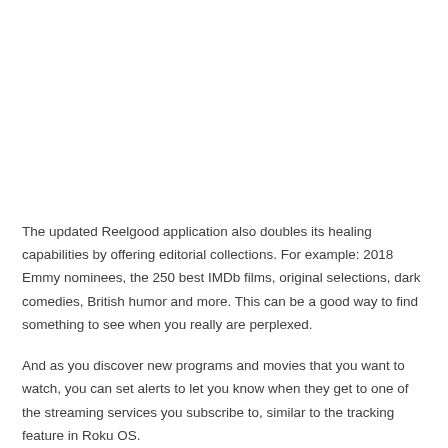The updated Reelgood application also doubles its healing capabilities by offering editorial collections. For example: 2018 Emmy nominees, the 250 best IMDb films, original selections, dark comedies, British humor and more. This can be a good way to find something to see when you really are perplexed.
And as you discover new programs and movies that you want to watch, you can set alerts to let you know when they get to one of the streaming services you subscribe to, similar to the tracking feature in Roku OS.